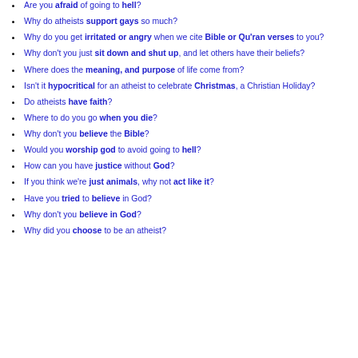Are you afraid of going to hell?
Why do atheists support gays so much?
Why do you get irritated or angry when we cite Bible or Qu'ran verses to you?
Why don't you just sit down and shut up, and let others have their beliefs?
Where does the meaning, and purpose of life come from?
Isn't it hypocritical for an atheist to celebrate Christmas, a Christian Holiday?
Do atheists have faith?
Where to do you go when you die?
Why don't you believe the Bible?
Would you worship god to avoid going to hell?
How can you have justice without God?
If you think we're just animals, why not act like it?
Have you tried to believe in God?
Why don't you believe in God?
Why did you choose to be an atheist?